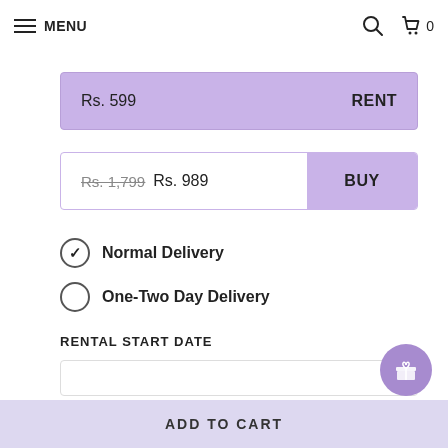MENU
Rs. 599  RENT
Rs. 1,799  Rs. 989  BUY
Normal Delivery
One-Two Day Delivery
RENTAL START DATE
ADD TO CART